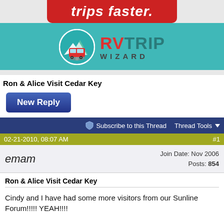[Figure (logo): RV Trip Wizard advertisement banner with red rounded rectangle showing 'trips faster.' text and teal background, plus RV Trip Wizard logo with circular RV icon and brand name]
Ron & Alice Visit Cedar Key
New Reply (button)
Subscribe to this Thread  Thread Tools
02-21-2010, 08:07 AM  #1
emam  Join Date: Nov 2006  Posts: 854
Ron & Alice Visit Cedar Key
Cindy and I have had some more visitors from our Sunline Forum!!!!! YEAH!!!!